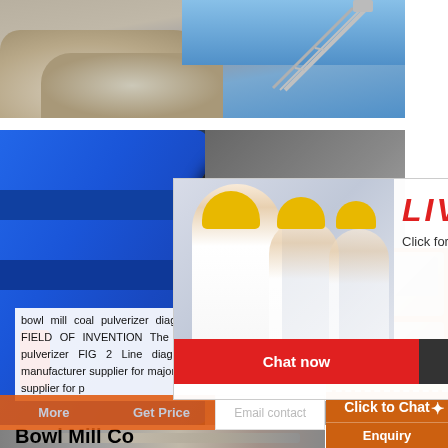[Figure (photo): Quarry with rocks/aggregate and conveyor structure against blue sky]
[Figure (photo): Blue jaw crusher machine with large black flywheel]
Bowl Mill Co
bowl mill coal pulverizer diagram. Pulverised Quarry Plant FIELD OF INVENTION The present bowl mill for a coal pulverizer FIG 2 Line diagram art pulverised coal mill manufacturer supplier for major coal crusher manufacturer and supplier for p
[Figure (photo): Live Chat popup overlay with workers in yellow hard hats and Chat now / Chat later buttons]
[Figure (photo): Orange right sidebar with mining/crusher machine images, Enjoy 3% discount banner, Click to Chat button, and Enquiry section]
Enjoy 3% discount
Click to Chat
Enquiry